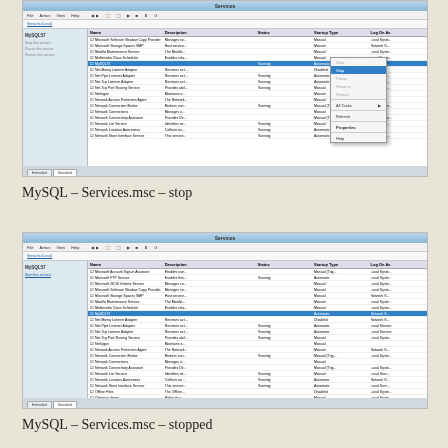[Figure (screenshot): Windows Services.msc window showing MySQL service selected with right-click context menu open showing Stop option highlighted]
MySQL – Services.msc – stop
[Figure (screenshot): Windows Services.msc window showing MySQL service in stopped state (Start this service link visible in sidebar)]
MySQL – Services.msc – stopped